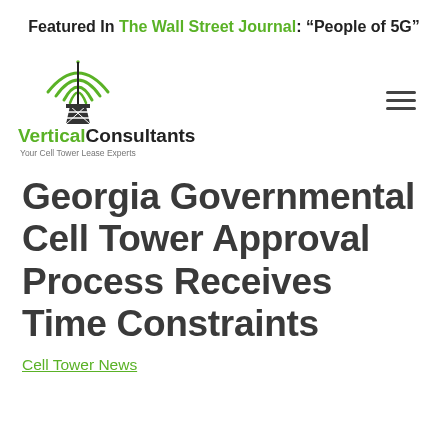Featured In The Wall Street Journal: “People of 5G”
[Figure (logo): Vertical Consultants logo with cell tower antenna icon emitting signal waves and tagline 'Your Cell Tower Lease Experts']
Georgia Governmental Cell Tower Approval Process Receives Time Constraints
Cell Tower News